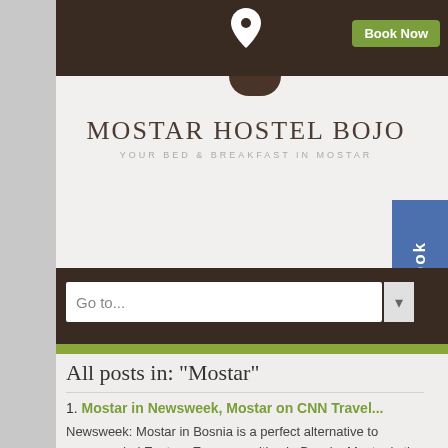[Figure (screenshot): Website screenshot of Mostar Hostel Bojo with dark brown header bar, location pin icon, Book Now button, white logo area, Facebook side tab, navigation bar with Go to... dropdown, olive accent bar, and blog post listing.]
MOSTAR HOSTEL BOJO
YOUR BED & BREAKFAST IN MOSTAR
Go to...
All posts in: "Mostar"
1. Mostar in Newsweek, Mostar on CNN Travel...
Newsweek: Mostar in Bosnia is a perfect alternative to overcrowded Eastern European cities In Bosnia, Mostar is the place to begin. At the city's heart...